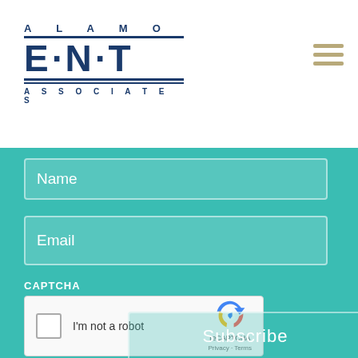[Figure (logo): Alamo ENT Associates logo with bold blue text. 'ALAMO' in spaced caps above, 'E·N·T' in large letters with top and bottom borders, 'ASSOCIATES' in spaced caps below.]
[Figure (other): Hamburger menu icon: three horizontal tan/gold bars in top right corner.]
Name
Email
CAPTCHA
[Figure (other): reCAPTCHA widget with checkbox, 'I'm not a robot' text, reCAPTCHA logo, and Privacy/Terms links.]
Subscribe